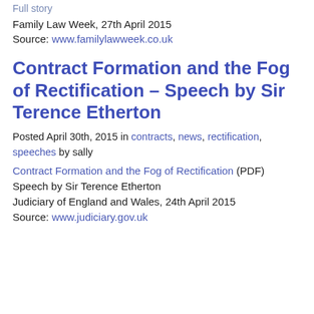Full story
Family Law Week, 27th April 2015
Source: www.familylawweek.co.uk
Contract Formation and the Fog of Rectification – Speech by Sir Terence Etherton
Posted April 30th, 2015 in contracts, news, rectification, speeches by sally
Contract Formation and the Fog of Rectification (PDF)
Speech by Sir Terence Etherton
Judiciary of England and Wales, 24th April 2015
Source: www.judiciary.gov.uk